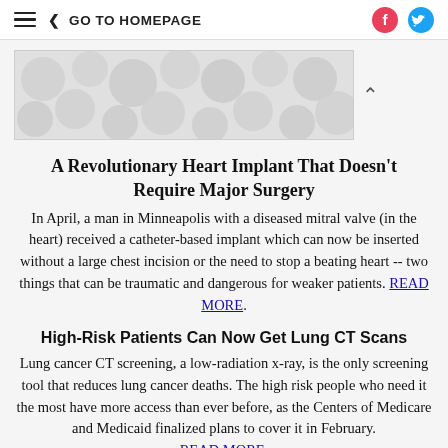≡  < GO TO HOMEPAGE
[Figure (illustration): Banner image with decorative circular dot pattern on grey background]
A Revolutionary Heart Implant That Doesn't Require Major Surgery
In April, a man in Minneapolis with a diseased mitral valve (in the heart) received a catheter-based implant which can now be inserted without a large chest incision or the need to stop a beating heart -- two things that can be traumatic and dangerous for weaker patients. READ MORE.
High-Risk Patients Can Now Get Lung CT Scans
Lung cancer CT screening, a low-radiation x-ray, is the only screening tool that reduces lung cancer deaths. The high risk people who need it the most have more access than ever before, as the Centers of Medicare and Medicaid finalized plans to cover it in February. READ MORE.